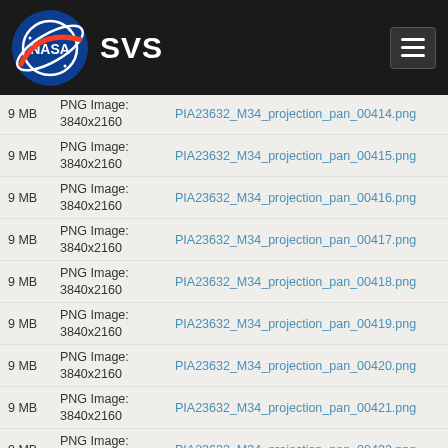NASA SVS
9 MB  PNG Image: 3840x2160  PIA23632_M34_projection_pan_00414.png
9 MB  PNG Image: 3840x2160  PIA23632_M34_projection_pan_00415.png
9 MB  PNG Image: 3840x2160  PIA23632_M34_projection_pan_00416.png
9 MB  PNG Image: 3840x2160  PIA23632_M34_projection_pan_00417.png
9 MB  PNG Image: 3840x2160  PIA23632_M34_projection_pan_00418.png
9 MB  PNG Image: 3840x2160  PIA23632_M34_projection_pan_00419.png
9 MB  PNG Image: 3840x2160  PIA23632_M34_projection_pan_00420.png
9 MB  PNG Image: 3840x2160  PIA23632_M34_projection_pan_00421.png
9 MB  PNG Image: 3840x2160  PIA23632_M34_projection_pan_00422.png
9 MB  PNG Image: 3840x2160  PIA23632_M34_projection_pan_00423.png